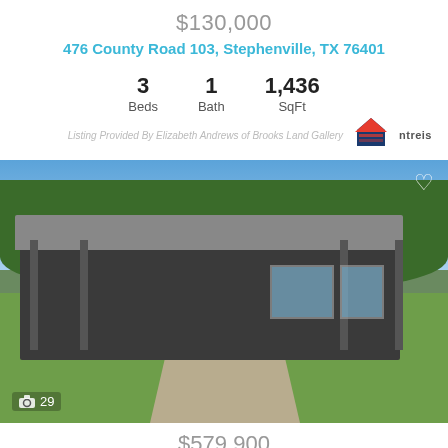$130,000
476 County Road 103, Stephenville, TX 76401
3 Beds | 1 Bath | 1,436 SqFt
Listing Provided By Elizabeth Andrews of Brooks Land Gallery ntrels
[Figure (photo): Exterior photo of a single-story metal barn-style home with a covered porch, gravel driveway, and green lawn. Photo count badge showing camera icon and 29. Heart/favorite icon in top right corner.]
$579,900
920 Horsemans Dr, Stephenville, TX 76401